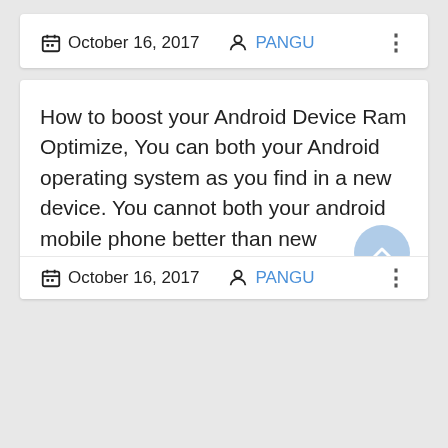October 16, 2017   PANGU
How to boost your Android Device Ram Optimize, You can both your Android operating system as you find in a new device. You cannot both your android mobile phone better than new condition. How to
October 16, 2017   PANGU